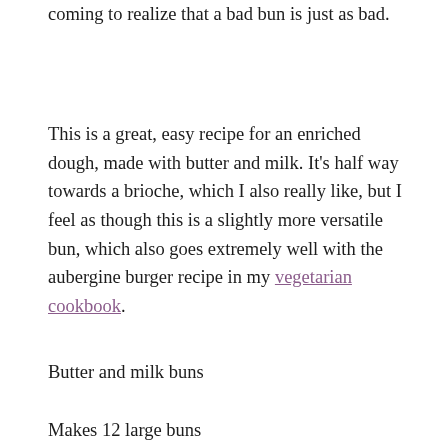coming to realize that a bad bun is just as bad.
This is a great, easy recipe for an enriched dough, made with butter and milk. It’s half way towards a brioche, which I also really like, but I feel as though this is a slightly more versatile bun, which also goes extremely well with the aubergine burger recipe in my vegetarian cookbook.
Butter and milk buns
Makes 12 large buns